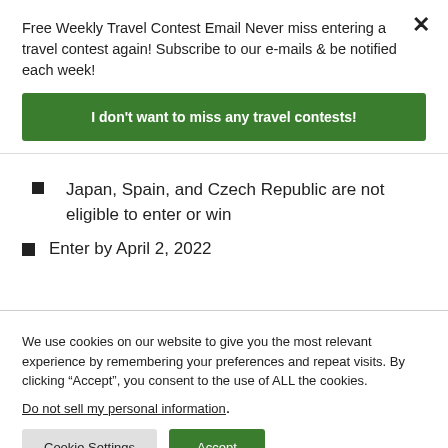Free Weekly Travel Contest Email Never miss entering a travel contest again! Subscribe to our e-mails & be notified each week!
I don't want to miss any travel contests!
Japan, Spain, and Czech Republic are not eligible to enter or win
Enter by April 2, 2022
We use cookies on our website to give you the most relevant experience by remembering your preferences and repeat visits. By clicking “Accept”, you consent to the use of ALL the cookies.
Do not sell my personal information.
Cookie Settings
Accept